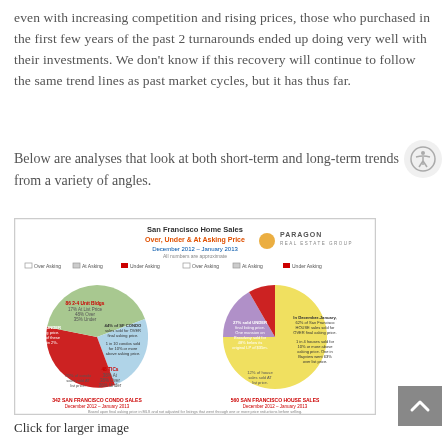even with increasing competition and rising prices, those who purchased in the first few years of the past 2 turnarounds ended up doing very well with their investments. We don't know if this recovery will continue to follow the same trend lines as past market cycles, but it has thus far.
Below are analyses that look at both short-term and long-term trends from a variety of angles.
[Figure (pie-chart): Two pie charts showing SF condo and house sales over, under, and at asking price for December 2012–January 2013. Left pie: 342 SF Condo Sales. Right pie: 560 SF House Sales. Categories: Over Asking, At Asking, Under Asking.]
Click for larger image